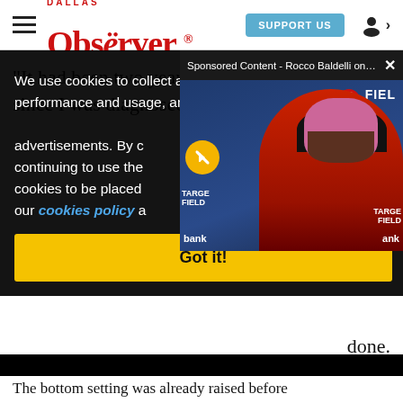Dallas Observer - SUPPORT US
"It had been two years living uncomfortably since I was diagnosed with this big problem,"
We use cookies to collect and analyze information on site performance and usage, and to enhance and customize content and advertisements. By clicking "Got it!" or continuing to use the site, you agree to allow cookies to be placed. To find out more, visit our cookies policy and our privacy policy.
[Figure (screenshot): Sponsored Content video popup showing Rocco Baldelli at Target Field press conference with mute button and close button]
Got it!
done.
The bottom setting was already raised before...